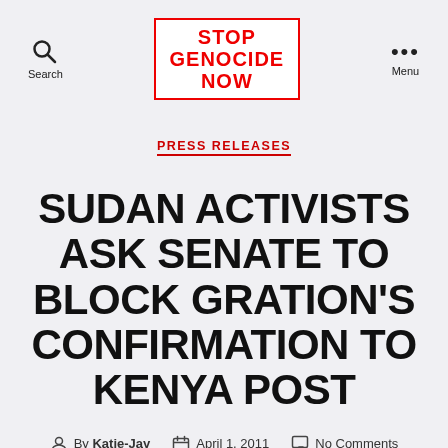STOP GENOCIDE NOW
PRESS RELEASES
SUDAN ACTIVISTS ASK SENATE TO BLOCK GRATION'S CONFIRMATION TO KENYA POST
By Katie-Jay · April 1, 2011 · No Comments